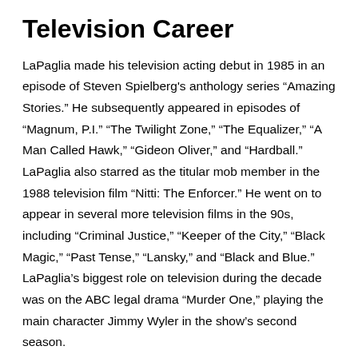Television Career
LaPaglia made his television acting debut in 1985 in an episode of Steven Spielberg's anthology series “Amazing Stories.” He subsequently appeared in episodes of “Magnum, P.I.” “The Twilight Zone,” “The Equalizer,” “A Man Called Hawk,” “Gideon Oliver,” and “Hardball.” LaPaglia also starred as the titular mob member in the 1988 television film “Nitti: The Enforcer.” He went on to appear in several more television films in the 90s, including “Criminal Justice,” “Keeper of the City,” “Black Magic,” “Past Tense,” “Lansky,” and “Black and Blue.” LaPaglia’s biggest role on television during the decade was on the ABC legal drama “Murder One,” playing the main character Jimmy Wyler in the show’s second season.
LaPaglia began the 2000s with a role on the NBC sitcom “Bracket… Simon. More the brother of Pender of…